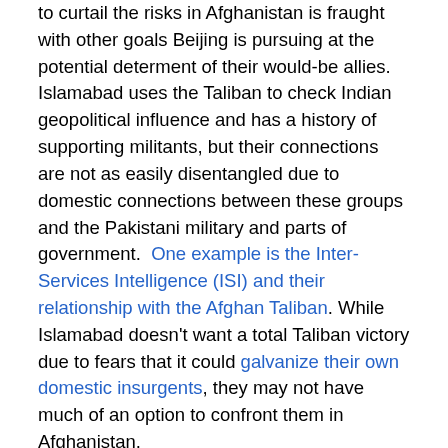to curtail the risks in Afghanistan is fraught with other goals Beijing is pursuing at the potential determent of their would-be allies. Islamabad uses the Taliban to check Indian geopolitical influence and has a history of supporting militants, but their connections are not as easily disentangled due to domestic connections between these groups and the Pakistani military and parts of government.  One example is the Inter-Services Intelligence (ISI) and their relationship with the Afghan Taliban. While Islamabad doesn't want a total Taliban victory due to fears that it could galvanize their own domestic insurgents, they may not have much of an option to confront them in Afghanistan.
Tajikistan has their own issues with China. In 2010, China gained part of the Pamir region as part of a concession by Tajikistan in return for assistance with security.  The